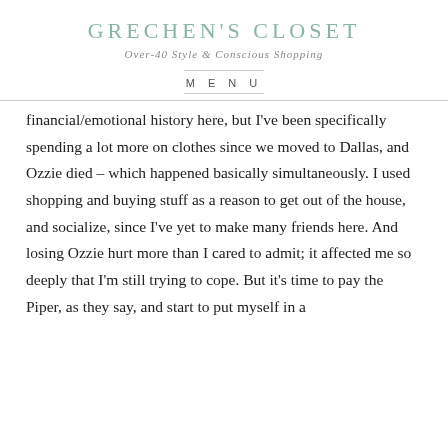GRECHEN'S CLOSET
Over-40 Style & Conscious Shopping
MENU
financial/emotional history here, but I've been specifically spending a lot more on clothes since we moved to Dallas, and Ozzie died – which happened basically simultaneously. I used shopping and buying stuff as a reason to get out of the house, and socialize, since I've yet to make many friends here. And losing Ozzie hurt more than I cared to admit; it affected me so deeply that I'm still trying to cope. But it's time to pay the Piper, as they say, and start to put myself in a